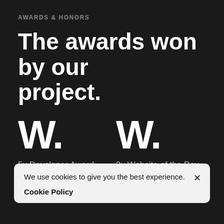AWARDS & HONORS
The awards won by our project.
W.
5x Developer Award
W.
3x Website of the Day
[Figure (logo): The Webby Awards logo (left)]
[Figure (logo): The Webby Awards logo (right)]
We use cookies to give you the best experience. ×
Cookie Policy